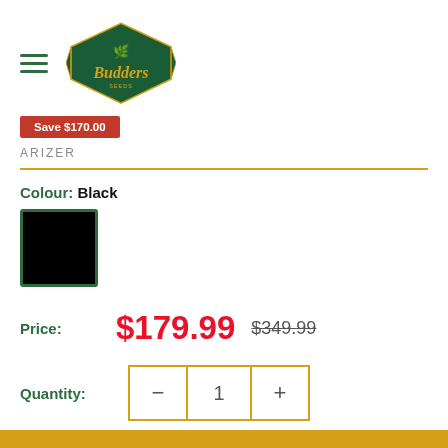[Figure (logo): Budders cannabis brand logo — green diamond/hexagon shape with gold text 'Budders' and cannabis leaf icon]
Save $170.00
ARIZER
Colour: Black
[Figure (illustration): Black colour swatch square with dark green border]
Price: $179.99 $349.99
Quantity: 1